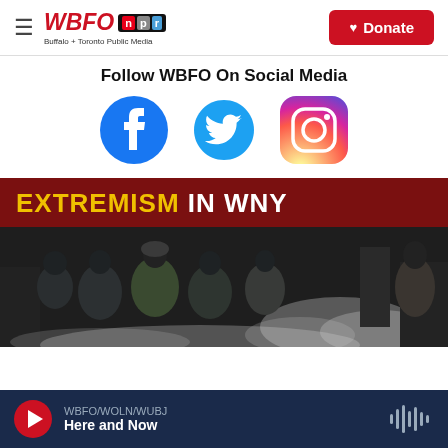[Figure (logo): WBFO NPR logo with tagline 'Buffalo + Toronto Public Media' and red Donate button]
Follow WBFO On Social Media
[Figure (illustration): Social media icons: Facebook, Twitter, Instagram]
[Figure (photo): Image with red banner text 'EXTREMISM IN WNY' over photo of people in winter clothing]
WBFO/WOLN/WUBJ  Here and Now